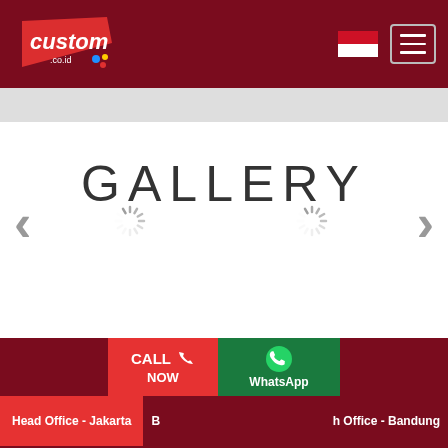[Figure (logo): custom.co.id logo in red and white on dark red background header]
GALLERY
[Figure (screenshot): Carousel area with left and right navigation arrows and two loading spinner icons]
[Figure (infographic): Website footer with dark red background, Call Now button in red, WhatsApp button in green, Head Office - Jakarta label in red, and Branch Office - Bandung label]
Head Office - Jakarta  B[ranch]  h Office - Bandung